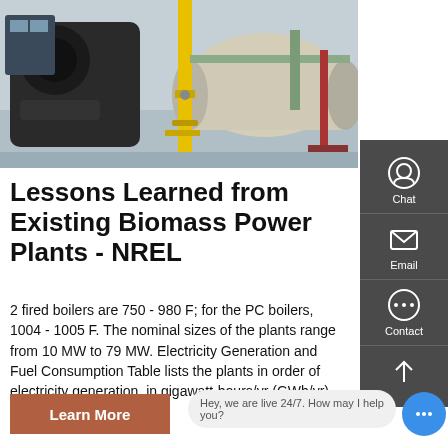[Figure (photo): Industrial biomass boiler equipment in a plant facility — dark blue/black boiler on left, large cylindrical tan/beige boiler on right, yellow vertical pipe in center, industrial piping and equipment visible]
Lessons Learned from Existing Biomass Power Plants - NREL
2 fired boilers are 750 - 980 F; for the PC boilers, 1004 - 1005 F. The nominal sizes of the plants range from 10 MW to 79 MW. Electricity Generation and Fuel Consumption Table lists the plants in order of electricity generation, in gigawatt-hours/yr (GWh/yr). For
Learn More
Hey, we are live 24/7. How may I help you?